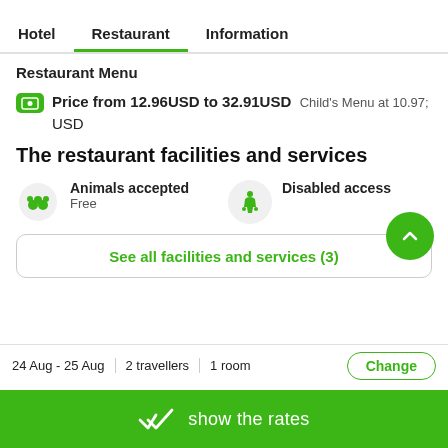Hotel | Restaurant | Information
Restaurant Menu
Price from 12.96USD to 32.91USD  Child's Menu at 10.97; USD
The restaurant facilities and services
Animals accepted
Free
Disabled access
See all facilities and services (3)
24 Aug - 25 Aug  |  2 travellers  |  1 room  |  Change
show the rates